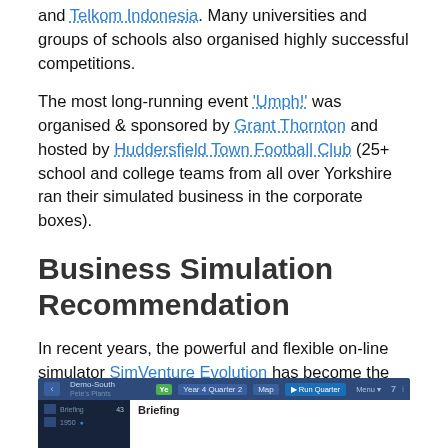and Telkom Indonesia. Many universities and groups of schools also organised highly successful competitions.
The most long-running event 'Umph!' was organised & sponsored by Grant Thornton and hosted by Huddersfield Town Football Club (25+ school and college teams from all over Yorkshire ran their simulated business in the corporate boxes).
Business Simulation Recommendation
In recent years, the powerful and flexible on-line simulator SimVenture Evolution has become the business simulation competition king. Using Evolution, teams compete against each other or the computer regardless of location.
[Figure (screenshot): Screenshot of SimVenture Evolution software interface showing a dark blue navigation bar at the top with user info, quarter controls, and a 'Briefing' panel visible in the main content area.]